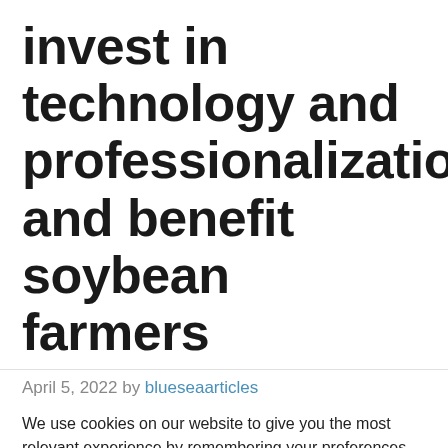invest in technology and professionalization and benefit soybean farmers
April 5, 2022 by blueseaarticles
We use cookies on our website to give you the most relevant experience by remembering your preferences and repeat visits. By clicking “Accept All”, you consent to the use of ALL the cookies. However, you may visit "Cookie Settings" to provide a controlled consent.